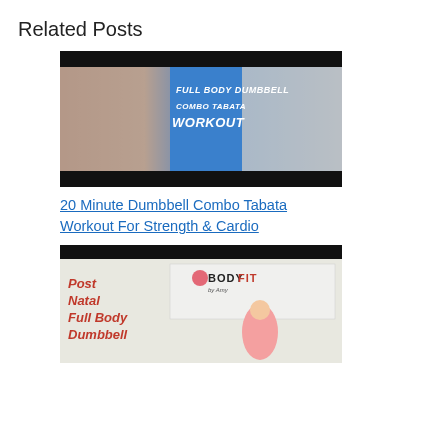Related Posts
[Figure (photo): Thumbnail image for '20 Minute Dumbbell Combo Tabata Workout For Strength & Cardio' showing two women exercising with dumbbells, with text overlay reading FULL BODY DUMBBELL COMBO TABATA WORKOUT on a blue background]
20 Minute Dumbbell Combo Tabata Workout For Strength & Cardio
[Figure (photo): Thumbnail image for Post Natal Full Body Dumbbell workout showing red bold text on the left and the BodyFit logo with a woman in a pink top holding dumbbells]